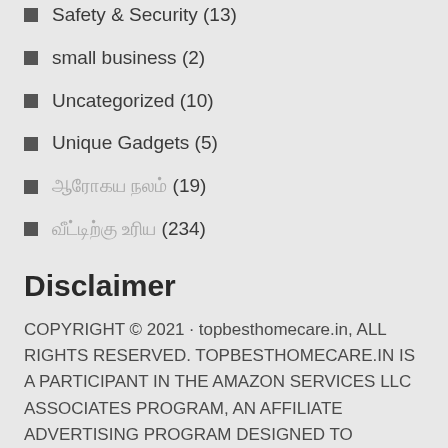Safety & Security (13)
small business (2)
Uncategorized (10)
Unique Gadgets (5)
ஆரோகய நலம் (19)
வீட்டிற்கு உரிய (234)
Disclaimer
COPYRIGHT © 2021 · topbesthomecare.in, ALL RIGHTS RESERVED. TOPBESTHOMECARE.IN IS A PARTICIPANT IN THE AMAZON SERVICES LLC ASSOCIATES PROGRAM, AN AFFILIATE ADVERTISING PROGRAM DESIGNED TO PROVIDE A MEANS FOR SITES TO EARN ADVERTISING FEES BY ADVERTISING AND LINKING TO AMAZON.IN. AMAZON, THE AMAZON LOGO, AMAZONSUPPLY, AND THE AMAZONSUPPLY LOGO ARE TRADEMARKS